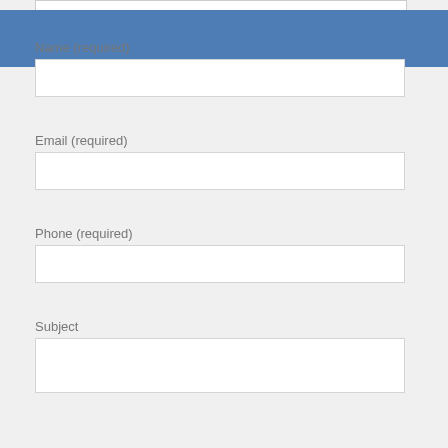[Figure (screenshot): Partial input box visible at the very top of the page, cut off]
[Figure (screenshot): Blue/steel-colored banner bar below the top input box]
Name (required)
Email (required)
Phone (required)
Subject